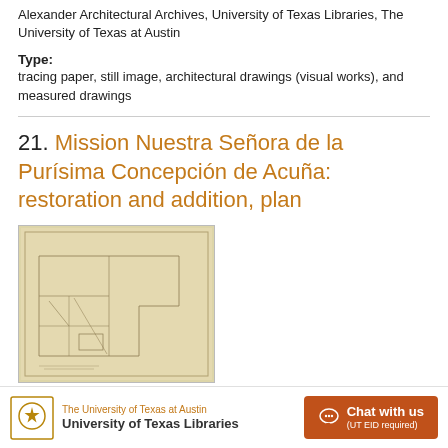Alexander Architectural Archives, University of Texas Libraries, The University of Texas at Austin
Type:
tracing paper, still image, architectural drawings (visual works), and measured drawings
21. Mission Nuestra Señora de la Purísima Concepción de Acuña: restoration and addition, plan
[Figure (photo): Thumbnail photograph of an architectural drawing on aged/yellowed paper, showing a floor plan with pencil lines.]
The University of Texas at Austin University of Texas Libraries | Chat with us (UT EID required)